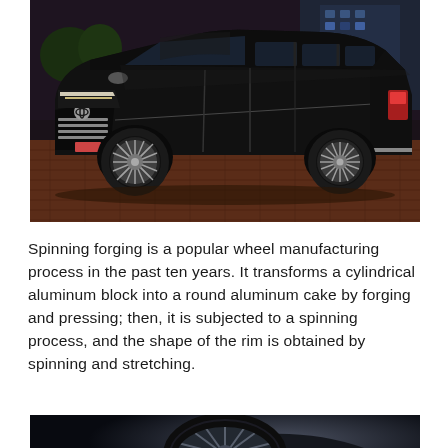[Figure (photo): Black luxury Toyota Vellfire/Alphard minivan parked outdoors at night on a brick plaza, with chrome multi-spoke wheels, photographed from a front three-quarter angle. City lights and a building visible in the background.]
Spinning forging is a popular wheel manufacturing process in the past ten years. It transforms a cylindrical aluminum block into a round aluminum cake by forging and pressing; then, it is subjected to a spinning process, and the shape of the rim is obtained by spinning and stretching.
[Figure (photo): Close-up photo of a Continental tire and alloy wheel rim on a dark background, showing the tread and sidewall branding.]